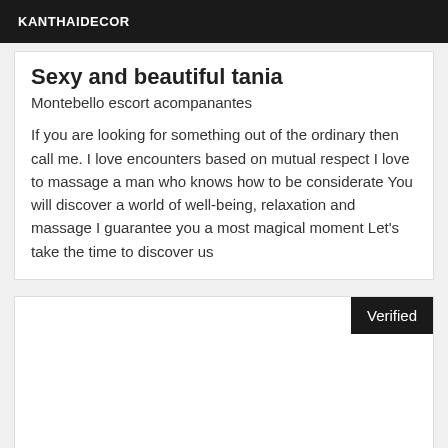KANTHAIDECOR
Sexy and beautiful tania
Montebello escort acompanantes
If you are looking for something out of the ordinary then call me. I love encounters based on mutual respect I love to massage a man who knows how to be considerate You will discover a world of well-being, relaxation and massage I guarantee you a most magical moment Let's take the time to discover us
Verified